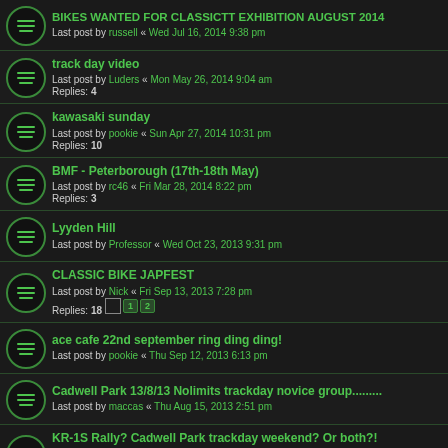BIKES WANTED FOR CLASSICTT EXHIBITION AUGUST 2014 — Last post by russell « Wed Jul 16, 2014 9:38 pm
track day video — Last post by Luders « Mon May 26, 2014 9:04 am — Replies: 4
kawasaki sunday — Last post by pookie « Sun Apr 27, 2014 10:31 pm — Replies: 10
BMF - Peterborough (17th-18th May) — Last post by rc46 « Fri Mar 28, 2014 8:22 pm — Replies: 3
Lyyden Hill — Last post by Professor « Wed Oct 23, 2013 9:31 pm
CLASSIC BIKE JAPFEST — Last post by Nick « Fri Sep 13, 2013 7:28 pm — Replies: 18 — pages: 1 2
ace cafe 22nd september ring ding ding! — Last post by pookie « Thu Sep 12, 2013 6:13 pm
Cadwell Park 13/8/13 Nolimits trackday novice group......... — Last post by maccas « Thu Aug 15, 2013 2:51 pm
KR-1S Rally? Cadwell Park trackday weekend? Or both?! — Last post by StrokerBoy « Tue Aug 06, 2013 9:11 pm — Replies: 21 — pages: 1 2
24h Le Mans Moto 21st & 22nd September